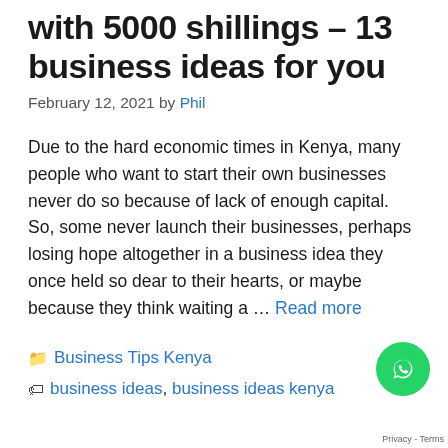with 5000 shillings – 13 business ideas for you
February 12, 2021 by Phil
Due to the hard economic times in Kenya, many people who want to start their own businesses never do so because of lack of enough capital. So, some never launch their businesses, perhaps losing hope altogether in a business idea they once held so dear to their hearts, or maybe because they think waiting a … Read more
Business Tips Kenya
business ideas, business ideas kenya